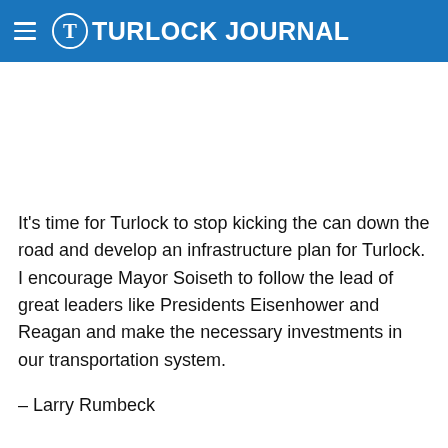Turlock Journal
It's time for Turlock to stop kicking the can down the road and develop an infrastructure plan for Turlock.  I encourage Mayor Soiseth to follow the lead of great leaders like Presidents Eisenhower and Reagan and make the necessary investments in our transportation system.
– Larry Rumbeck